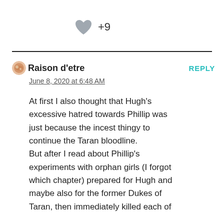[Figure (other): Heart like icon (gray filled heart shape) with +9 count]
Raison d'etre
June 8, 2020 at 6:48 AM
REPLY
At first I also thought that Hugh's excessive hatred towards Phillip was just because the incest thingy to continue the Taran bloodline. But after I read about Phillip's experiments with orphan girls (I forgot which chapter) prepared for Hugh and maybe also for the former Dukes of Taran, then immediately killed each of